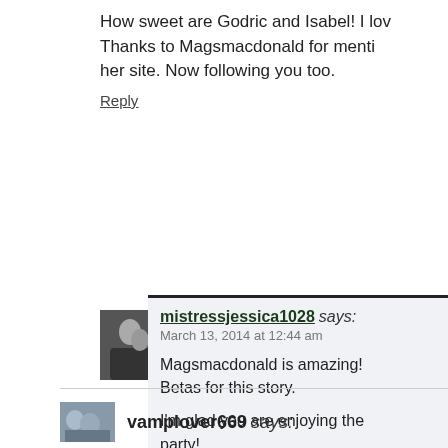How sweet are Godric and Isabel! I lov... Thanks to Magsmacdonald for menti... her site. Now following you too.
Reply
mistressjessica1028 says:
March 13, 2014 at 12:44 am
Magsmacdonald is amazing! Betas for this story.
I'm glad you are enjoying the party!
Reply
vamplover669 says: